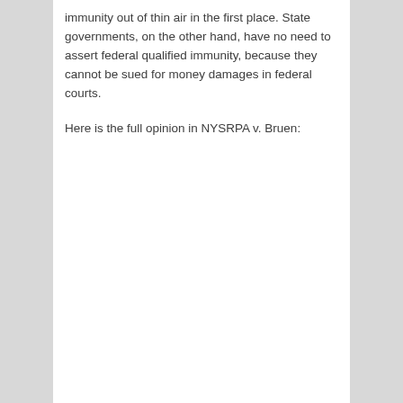immunity out of thin air in the first place. State governments, on the other hand, have no need to assert federal qualified immunity, because they cannot be sued for money damages in federal courts.
Here is the full opinion in NYSRPA v. Bruen: